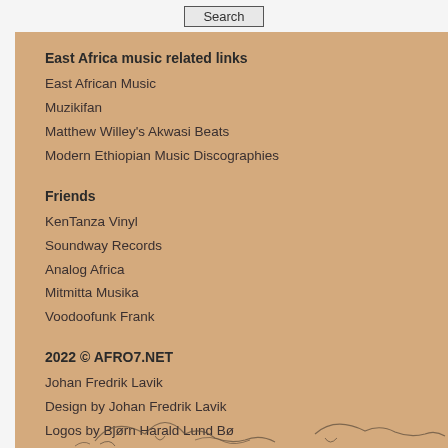Search
East Africa music related links
East African Music
Muzikifan
Matthew Willey's Akwasi Beats
Modern Ethiopian Music Discographies
Friends
KenTanza Vinyl
Soundway Records
Analog Africa
Mitmitta Musika
Voodoofunk Frank
2022 © AFRO7.NET
Johan Fredrik Lavik
Design by Johan Fredrik Lavik
Logos by Bjørn Harald Lund Bø
Powered by WordPress
[Figure (illustration): Sketch illustration of animals at bottom of page]